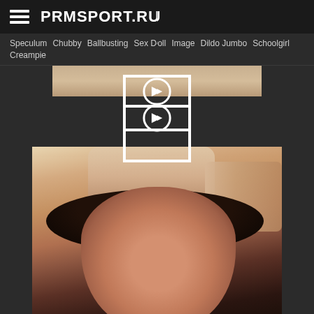PRMSPORT.RU
Speculum  Chubby  Ballbusting  Sex Doll  Image  Dildo Jumbo  Schoolgirl  Creampie
[Figure (photo): Website screenshot showing adult content site prmsport.ru with navigation menu and adult photographs]
[Figure (logo): Site logo overlay - geometric circular design in white on dark background]